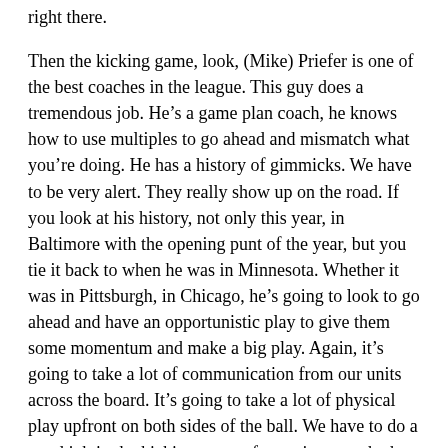right there.
Then the kicking game, look, (Mike) Priefer is one of the best coaches in the league. This guy does a tremendous job. He’s a game plan coach, he knows how to use multiples to go ahead and mismatch what you’re doing. He has a history of gimmicks. We have to be very alert. They really show up on the road. If you look at his history, not only this year, in Baltimore with the opening punt of the year, but you tie it back to when he was in Minnesota. Whether it was in Pittsburgh, in Chicago, he’s going to look to go ahead and have an opportunistic play to give them some momentum and make a big play. Again, it’s going to take a lot of communication from our units across the board. It’s going to take a lot of physical play upfront on both sides of the ball. We have to do a good job in the kicking game of covering, so whether it’s (Donovan) Peoples-Jones back deep or (Jarvis) Landry in a got-to-have situation, they have aggressive, vertical returners who will make the most of their opportunities and make you pay. That being said, I’ll open it up to any questions you guys may have.
Q: How helpful is having Freddie Kitchens this week, just given his familiarity with the Browns’ roster?
A: I don’t think it’s anything unique. Really, any team you play in the National Football League, there’s familiarity with players and coaches. We’re always trying to use everything we have.